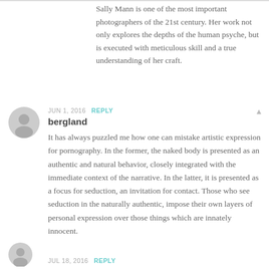Sally Mann is one of the most important photographers of the 21st century. Her work not only explores the depths of the human psyche, but is executed with meticulous skill and a true understanding of her craft.
JUN 1, 2016  REPLY
bergland
It has always puzzled me how one can mistake artistic expression for pornography. In the former, the naked body is presented as an authentic and natural behavior, closely integrated with the immediate context of the narrative. In the latter, it is presented as a focus for seduction, an invitation for contact. Those who see seduction in the naturally authentic, impose their own layers of personal expression over those things which are innately innocent.
JUL 18, 2016  REPLY